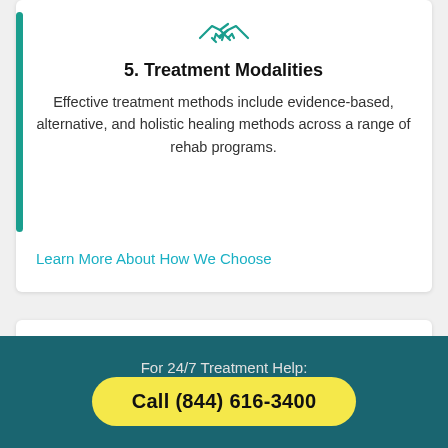[Figure (illustration): Teal handshake icon representing treatment modalities]
5. Treatment Modalities
Effective treatment methods include evidence-based, alternative, and holistic healing methods across a range of rehab programs.
Learn More About How We Choose
People also read
For 24/7 Treatment Help:
Call (844) 616-3400